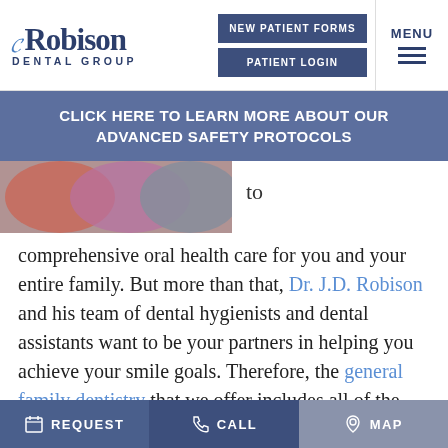[Figure (logo): Robison Dental Group logo with swoosh above the R]
NEW PATIENT FORMS
PATIENT LOGIN
MENU
CLICK HERE TO LEARN MORE ABOUT OUR ADVANCED SAFETY PROTOCOLS
[Figure (photo): Partial photo of people, cropped, showing colorful clothing]
to
comprehensive oral health care for you and your entire family. But more than that, Dr. J.D. Robison and his team of dental hygienists and dental assistants want to be your partners in helping you achieve your smile goals. Therefore, the general family dentistry that we offer includes all of the components needed to care for your teeth and improve your smile.
REQUEST
CALL
MAP